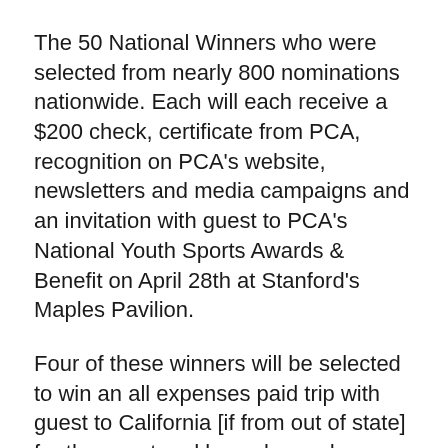The 50 National Winners who were selected from nearly 800 nominations nationwide. Each will each receive a $200 check, certificate from PCA, recognition on PCA's website, newsletters and media campaigns and an invitation with guest to PCA's National Youth Sports Awards & Benefit on April 28th at Stanford's Maples Pavilion.
Four of these winners will be selected to win an all expenses paid trip with guest to California [if from out of state] for the event and be welcomed on stage for a panel discussion. Update on March 8: We just found out that Coach Klein has been selected to be one of the panelists — although his journey from Menlo Park to the Stanford campus is more an all-